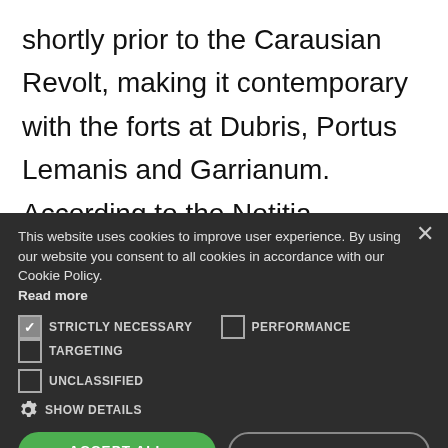shortly prior to the Carausian Revolt, making it contemporary with the forts at Dubris, Portus Lemanis and Garrianum. According to the Notitia Dignitatum, which is the only contemporary document mentioning Othona, the fort was garrisoned by a numerus Fortensium ("numerus of
This website uses cookies to improve user experience. By using our website you consent to all cookies in accordance with our Cookie Policy. Read more
STRICTLY NECESSARY   PERFORMANCE   TARGETING   UNCLASSIFIED   SHOW DETAILS
ACCEPT ALL   DECLINE ALL